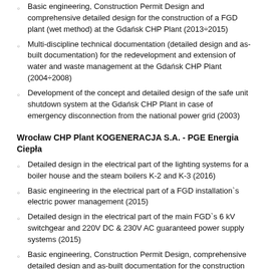Basic engineering, Construction Permit Design and comprehensive detailed design for the construction of a FGD plant (wet method) at the Gdańsk CHP Plant (2013÷2015)
Multi-discipline technical documentation (detailed design and as-built documentation) for the redevelopment and extension of water and waste management at the Gdańsk CHP Plant (2004÷2008)
Development of the concept and detailed design of the safe unit shutdown system at the Gdańsk CHP Plant in case of emergency disconnection from the national power grid (2003)
Wrocław CHP Plant KOGENERACJA S.A. - PGE Energia Ciepła
Detailed design in the electrical part of the lighting systems for a boiler house and the steam boilers K-2 and K-3 (2016)
Basic engineering in the electrical part of a FGD installation`s electric power management (2015)
Detailed design in the electrical part of the main FGD`s 6 kV switchgear and 220V DC & 230V AC guaranteed power supply systems (2015)
Basic engineering, Construction Permit Design, comprehensive detailed design and as-built documentation for the construction of a FGD plant (2013÷2015)
Kraków CHP Plant - PGE Energia Ciepła